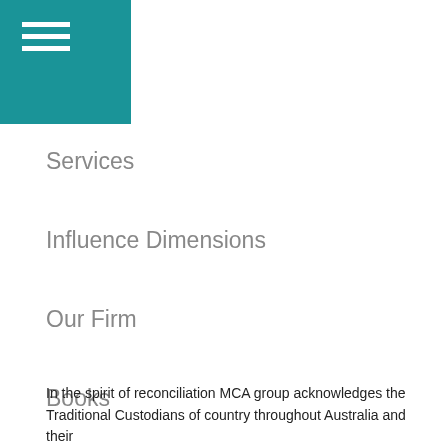Services
Influence Dimensions
Our Firm
Books
Contact
In the spirit of reconciliation MCA group acknowledges the Traditional Custodians of country throughout Australia and their